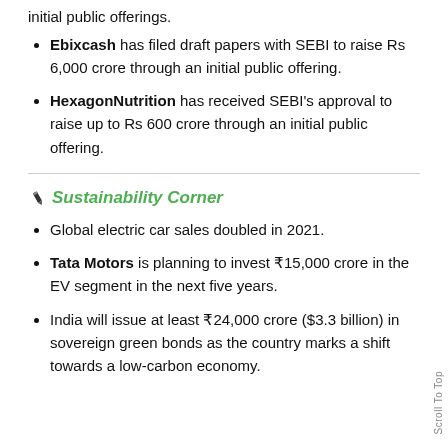initial public offerings.
Ebixcash has filed draft papers with SEBI to raise Rs 6,000 crore through an initial public offering.
HexagonNutrition has received SEBI's approval to raise up to Rs 600 crore through an initial public offering.
Sustainability Corner
Global electric car sales doubled in 2021.
Tata Motors is planning to invest ₹15,000 crore in the EV segment in the next five years.
India will issue at least ₹24,000 crore ($3.3 billion) in sovereign green bonds as the country marks a shift towards a low-carbon economy.